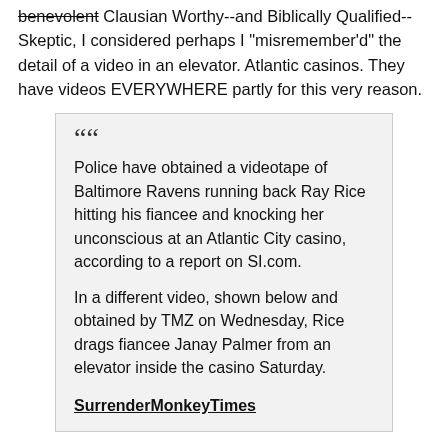benevolent Clausian Worthy--and Biblically Qualified--Skeptic, I considered perhaps I "misremember'd" the detail of a video in an elevator. Atlantic casinos. They have videos EVERYWHERE partly for this very reason.
Police have obtained a videotape of Baltimore Ravens running back Ray Rice hitting his fiancee and knocking her unconscious at an Atlantic City casino, according to a report on SI.com.

In a different video, shown below and obtained by TMZ on Wednesday, Rice drags fiancee Janay Palmer from an elevator inside the casino Saturday.

SurrenderMonkeyTimes
Now that plays into the crap in my "Tangent" regarding making a successful prosecution.
The Comish and NFL are not the police. They have an option to suspend for as long at they want within some parameters